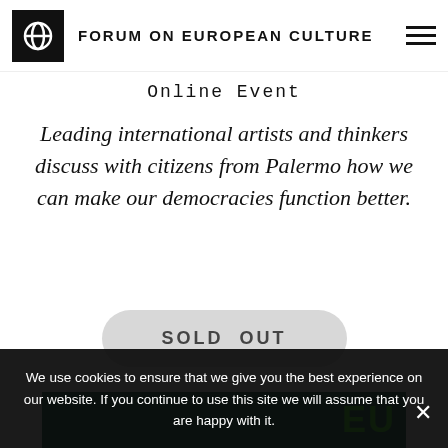FORUM ON EUROPEAN CULTURE
Online Event
Leading international artists and thinkers discuss with citizens from Palermo how we can make our democracies function better.
SOLD OUT
[Figure (other): Green banner with partial 'EU' text visible in bright green on dark teal background]
We use cookies to ensure that we give you the best experience on our website. If you continue to use this site we will assume that you are happy with it.